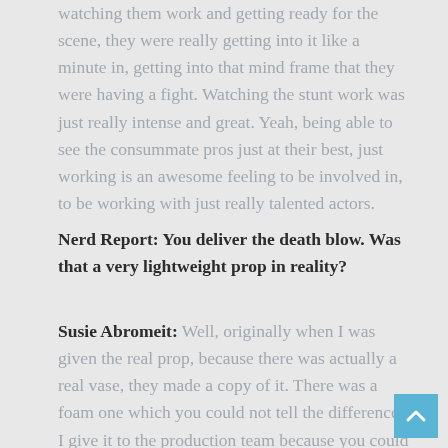watching them work and getting ready for the scene, they were really getting into it like a minute in, getting into that mind frame that they were having a fight. Watching the stunt work was just really intense and great. Yeah, being able to see the consummate pros just at their best, just working is an awesome feeling to be involved in, to be working with just really talented actors.
Nerd Report: You deliver the death blow. Was that a very lightweight prop in reality?
Susie Abromeit: Well, originally when I was given the real prop, because there was actually a real vase, they made a copy of it. There was a foam one which you could not tell the difference. I give it to the production team because you could not tell the difference. When I held the real one in my hand, it was so heavy. It felt like 20 pounds. But then I was holding the foam one